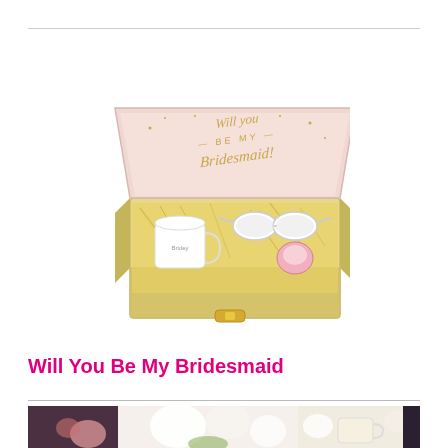[Figure (photo): A pink and gold gift box open showing a 'Will You Be My Bridesmaid?' message on the lid in gold script, with sunglasses, a mug, and other items inside on gold shredded paper filling.]
Will You Be My Bridesmaid
[Figure (photo): A horizontal strip photo showing white flowers and wedding-themed imagery with a blurred, soft focus background.]